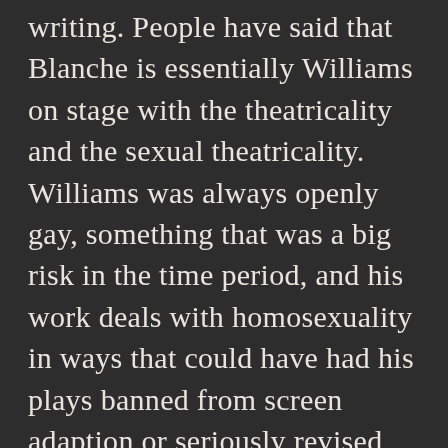writing. People have said that Blanche is essentially Williams on stage with the theatricality and the sexual theatricality. Williams was always openly gay, something that was a big risk in the time period, and his work deals with homosexuality in ways that could have had his plays banned from screen adaption or seriously revised for screen adaption. His work was very open about sex during a time when such discussions were rarely, if ever, public. Yet Williams would be criticized by LGBT people and activists for his work being constructed around heteronormative tropes; he would always defend his work as being for a broader audience than just LGBT communities. All of his work is set in the South, and much of his